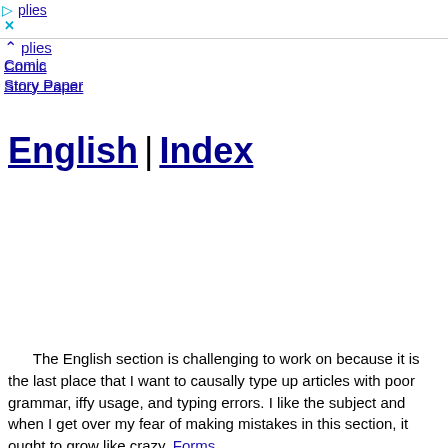▷ plies
× Comic
Story Paper
English | Index
The English section is challenging to work on because it is the last place that I want to causally type up articles with poor grammar, iffy usage, and typing errors. I like the subject and when I get over my fear of making mistakes in this section, it ought to grow like crazy. Forms